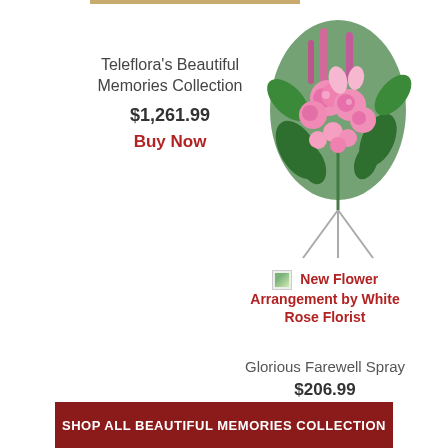Teleflora's Beautiful Memories Collection
$1,261.99
Buy Now
[Figure (photo): Pink floral spray arrangement on a tripod stand with pink roses, lilies, and greenery]
[Figure (photo): Broken/missing image placeholder icon for New Flower Arrangement by White Rose Florist]
New Flower Arrangement by White Rose Florist
Glorious Farewell Spray
$206.99
Buy Now
SHOP ALL BEAUTIFUL MEMORIES COLLECTION